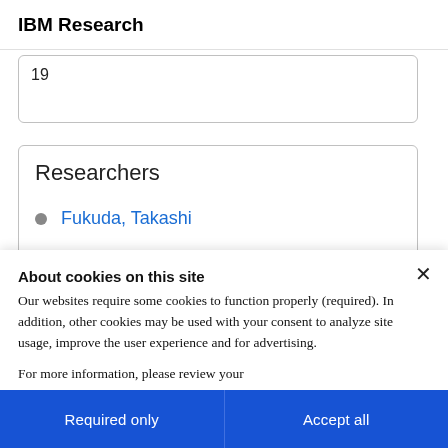IBM Research
19
Researchers
Fukuda, Takashi
About cookies on this site
Our websites require some cookies to function properly (required). In addition, other cookies may be used with your consent to analyze site usage, improve the user experience and for advertising.
For more information, please review your Cookie preferences options and IBM's privacy statement.
Required only
Accept all